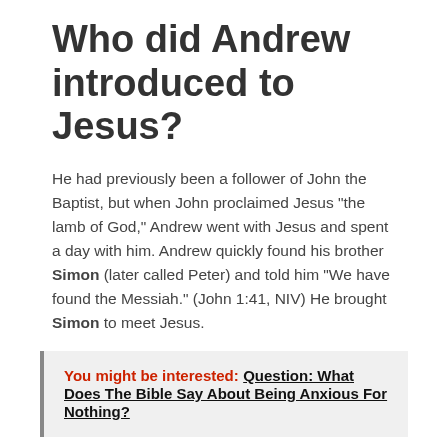Who did Andrew introduced to Jesus?
He had previously been a follower of John the Baptist, but when John proclaimed Jesus “the lamb of God,” Andrew went with Jesus and spent a day with him. Andrew quickly found his brother Simon (later called Peter) and told him “We have found the Messiah.” (John 1:41, NIV) He brought Simon to meet Jesus.
You might be interested: Question: What Does The Bible Say About Being Anxious For Nothing?
Who walked on water